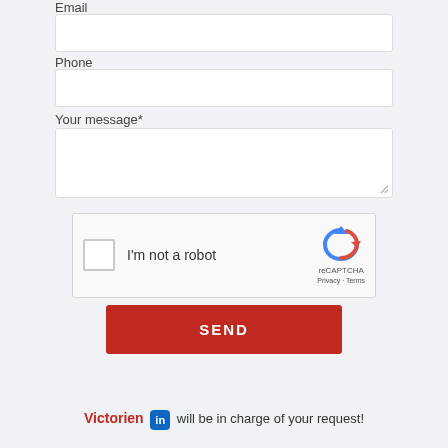Email
Phone
Your message*
[Figure (other): reCAPTCHA widget with checkbox labeled 'I'm not a robot' and reCAPTCHA logo with Privacy and Terms links]
SEND
Victorien [LinkedIn] will be in charge of your request!